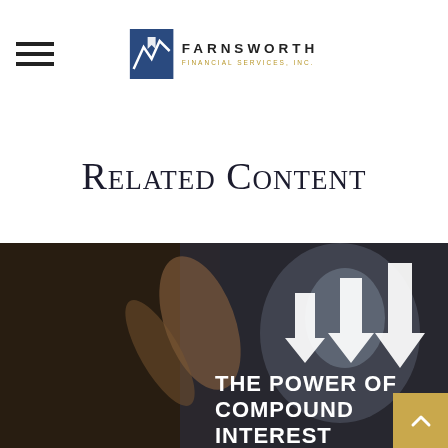Farnsworth Financial Services, Inc.
Related Content
[Figure (photo): Dark background photo showing hands touching a tablet device with Benjamin Franklin currency image, overlaid with upward-pointing arrows and text 'THE POWER OF COMPOUND INTEREST']